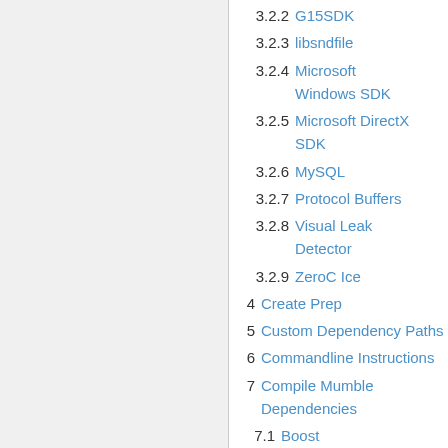3.2.2 G15SDK
3.2.3 libsndfile
3.2.4 Microsoft Windows SDK
3.2.5 Microsoft DirectX SDK
3.2.6 MySQL
3.2.7 Protocol Buffers
3.2.8 Visual Leak Detector
3.2.9 ZeroC Ice
4 Create Prep
5 Custom Dependency Paths
6 Commandline Instructions
7 Compile Mumble Dependencies
7.1 Boost
7.2 OpenSSL
7.3 Qt
8 Download, Compile and Run